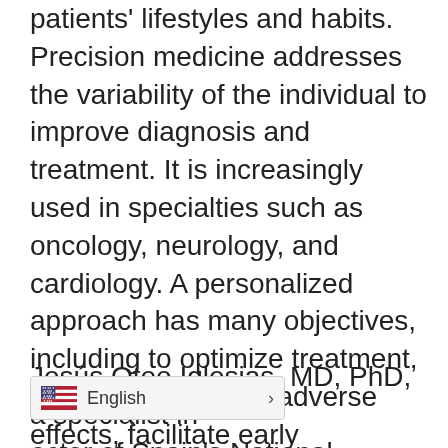patients' lifestyles and habits. Precision medicine addresses the variability of the individual to improve diagnosis and treatment. It is increasingly used in specialties such as oncology, neurology, and cardiology. A personalized approach has many objectives, including to optimize treatment, minimize the risk of adverse effects, facilitate early diagnosis, and determine predisposition to disease. Genomic technologies, such as massive sequencing techniques, and tools such as CRISPR-Cas9, are key to the future of personalized medicine.
Jesús Oteo Iglesias, MD, PhD, a specialist in [obscured] ector of Spain's National [obscured] about the Spanish